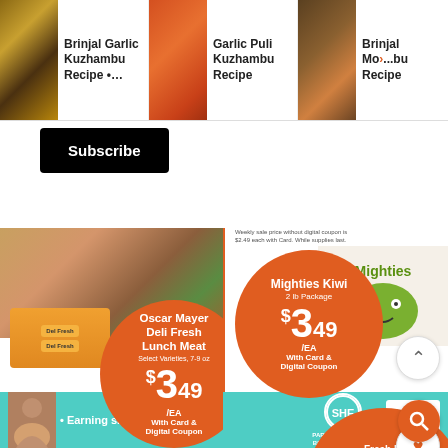[Figure (screenshot): Recipe recommendation bar showing three recipe cards: Brinjal Garlic Kuzhambu Recipe, Garlic Puli Kuzhambu Recipe, Brinjal Mo... Kuzhambu Recipe]
Brinjal Garlic Kuzhambu Recipe •…
Garlic Puli Kuzhambu Recipe
Brinjal Mo... Kuzhambu Recipe
[Figure (screenshot): Subscribe button (black background, white text)]
[Figure (screenshot): Grocery store ad panel showing Oscar Mayer Deli Fresh Lunch Meat Select Varieties 7-9 oz at $3.49/EA With Card & Digital Coupon. Weekly sale price without digital coupon is $3.99 each with Card. While supplies last.]
Oscar Mayer Deli Fresh Lunch Meat
Select Varieties, 7-9 oz
$3.49 /EA With Card & Digital Coupon
Weekly sale price without digital coupon is $3.99 each with Card. While supplies last.
[Figure (screenshot): Mighties Kiwi 2 lb Package at $3.49/EA With Card & Digital Coupon. Weekly sale price without digital coupon is $4.99 each with Card. While supplies last.]
Mighties Kiwi
2 lb Package
$3.49 /EA With Card & Digital Coupon
Weekly sale price without digital coupon is $4.99 each with Card. While supplies last.
[Figure (screenshot): Blueberries label at bottom of left panel]
Blueberries
[Figure (screenshot): Fresh Baked Soft Top Cookies with partial price visible]
Fresh Baked Soft Top Cookies
[Figure (screenshot): Bottom advertisement banner: Earning site & social revenue, SHE PARTNER NETWORK BECOME A MEMBER, LEARN MORE button]